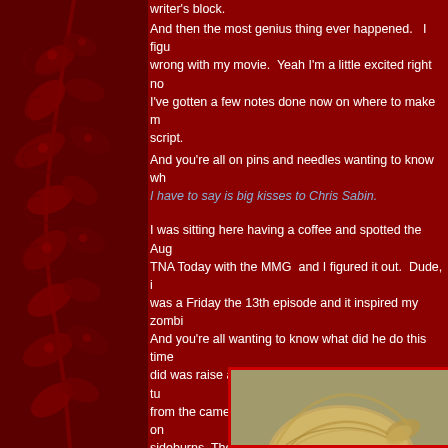writer's block.
And then the most genius thing ever happened.   I figured out what was wrong with my movie.  Yeah I'm a little excited right now. I've gotten a few notes done now on where to make my changes to the script.
And you're all on pins and needles wanting to know wh... I have to say is big kisses to Chris Sabin.
I was sitting here having a coffee and spotted the Aug... TNA Today with the MMG  and I figured it out.  Dude, it was a Friday the 13th episode and it inspired my zombie. And you're all wanting to know what did he do this time... did was raise an eyebrow.  Seriously.  All he did was turn from the camera and raised an eyebrow, with a full on sideburns. The style  that I said looked like he was trying bad porn star from the 70's. I know I know, what else can I say other then the boy i... He's just fabulous.
[Figure (photo): Photo of a person with blonde/light brown hair visible at the bottom of the page, with a reddish-brown background.]